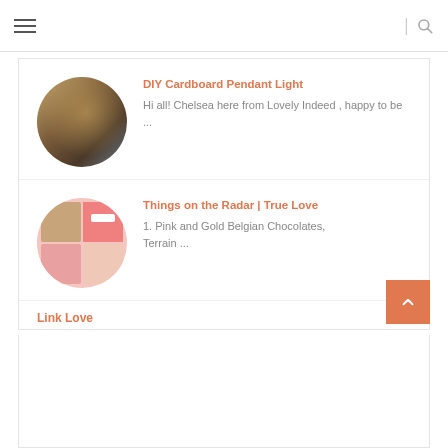≡ | 🔍
[Figure (photo): Circular thumbnail of a DIY cardboard pendant light with warm tones]
DIY Cardboard Pendant Light
Hi all! Chelsea here from Lovely Indeed , happy to be ...
[Figure (photo): Circular thumbnail showing pink and gold chocolates in a box]
Things on the Radar | True Love
1. Pink and Gold Belgian Chocolates, Terrain ...
Link Love
•Loving these brightly painted pieces of driftwood by ...